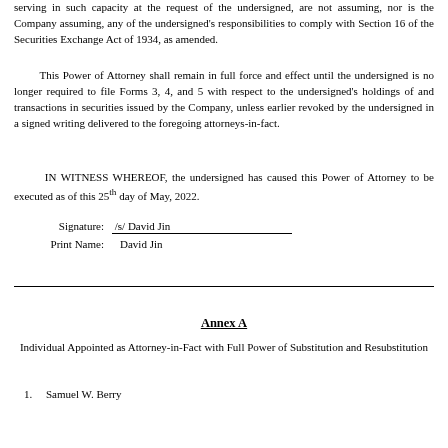serving in such capacity at the request of the undersigned, are not assuming, nor is the Company assuming, any of the undersigned's responsibilities to comply with Section 16 of the Securities Exchange Act of 1934, as amended.
This Power of Attorney shall remain in full force and effect until the undersigned is no longer required to file Forms 3, 4, and 5 with respect to the undersigned's holdings of and transactions in securities issued by the Company, unless earlier revoked by the undersigned in a signed writing delivered to the foregoing attorneys-in-fact.
IN WITNESS WHEREOF, the undersigned has caused this Power of Attorney to be executed as of this 25th day of May, 2022.
Signature:   /s/ David Jin
Print Name: David Jin
Annex A
Individual Appointed as Attorney-in-Fact with Full Power of Substitution and Resubstitution
1.    Samuel W. Berry